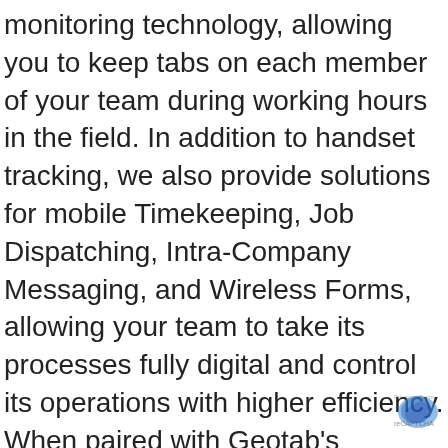monitoring technology, allowing you to keep tabs on each member of your team during working hours in the field. In addition to handset tracking, we also provide solutions for mobile Timekeeping, Job Dispatching, Intra-Company Messaging, and Wireless Forms, allowing your team to take its processes fully digital and control its operations with higher efficiency. When paired with Geotab's proficiency in the fleet management sphere, our solutions can provide even greater potential for your business.
Use Actsoft and Geotab to gain full insight on both your fleet and remote workforce in near real-time. Our strategic partnership with Geotab allows us to